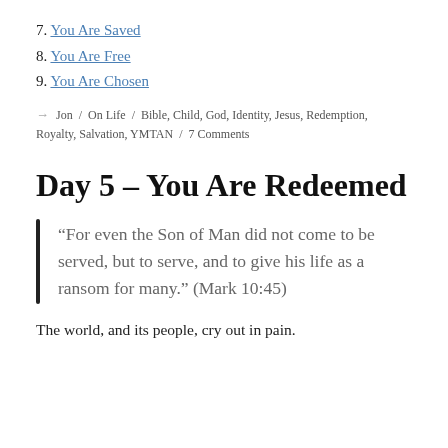7. You Are Saved
8. You Are Free
9. You Are Chosen
→ Jon / On Life / Bible, Child, God, Identity, Jesus, Redemption, Royalty, Salvation, YMTAN / 7 Comments
Day 5 – You Are Redeemed
“For even the Son of Man did not come to be served, but to serve, and to give his life as a ransom for many.” (Mark 10:45)
The world, and its people, cry out in pain.